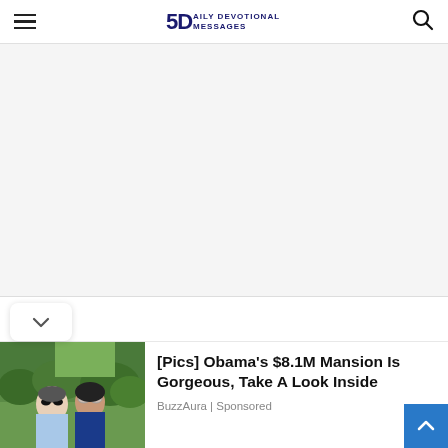5D Daily Devotional Messages
[Figure (other): Advertisement banner area (blank/white space)]
[Figure (photo): Photo of two people (man and woman) outdoors with greenery in background, used as ad thumbnail for Obama mansion article]
[Pics] Obama's $8.1M Mansion Is Gorgeous, Take A Look Inside
BuzzAura | Sponsored